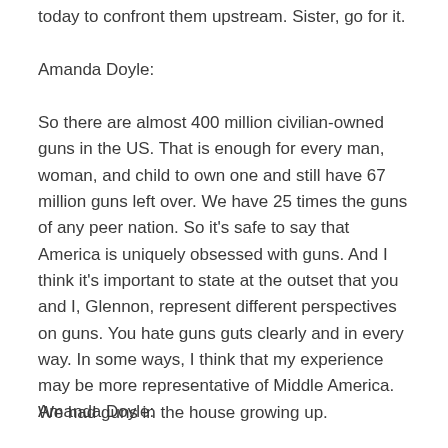today to confront them upstream. Sister, go for it.
Amanda Doyle:
So there are almost 400 million civilian-owned guns in the US. That is enough for every man, woman, and child to own one and still have 67 million guns left over. We have 25 times the guns of any peer nation. So it’s safe to say that America is uniquely obsessed with guns. And I think it’s important to state at the outset that you and I, Glennon, represent different perspectives on guns. You hate guns guts clearly and in every way. In some ways, I think that my experience may be more representative of Middle America. We had guns in the house growing up.
Amanda Doyle: